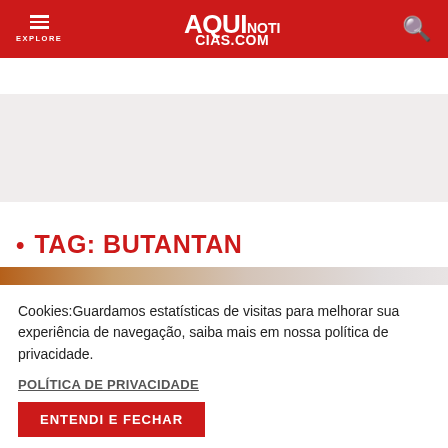AQUI NOTICIAS.COM
• TAG: BUTANTAN
Cookies:Guardamos estatísticas de visitas para melhorar sua experiência de navegação, saiba mais em nossa política de privacidade.
POLÍTICA DE PRIVACIDADE
ENTENDI E FECHAR